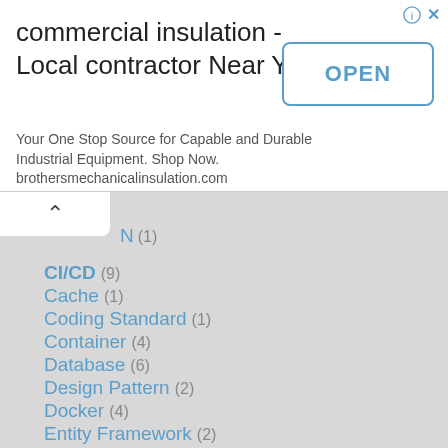[Figure (screenshot): Advertisement banner for commercial insulation contractor with OPEN button]
commercial insulation - Local contractor Near You
Your One Stop Source for Capable and Durable Industrial Equipment. Shop Now. brothersmechanicalinsulation.com
N (1)
CI/CD (9)
Cache (1)
Coding Standard (1)
Container (4)
Database (6)
Design Pattern (2)
Docker (4)
Entity Framework (2)
Firebase (1)
Git (2)
Golang (2)
Google (3)
GulpJs (2)
HTTP (1)